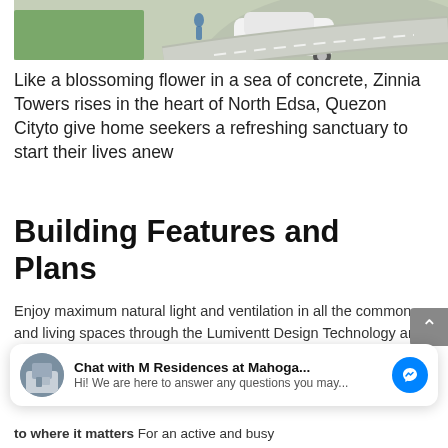[Figure (photo): Top portion of a photo showing a white SUV on a curved driveway with green lawn and a person walking.]
Like a blossoming flower in a sea of concrete, Zinnia Towers rises in the heart of North Edsa, Quezon Cityto give home seekers a refreshing sanctuary to start their lives anew
Building Features and Plans
Enjoy maximum natural light and ventilation in all the common and living spaces through the Lumiventt Design Technology and masterfully
Chat with M Residences at Mahoga...
Hi! We are here to answer any questions you may...
to where it matters For an active and busy